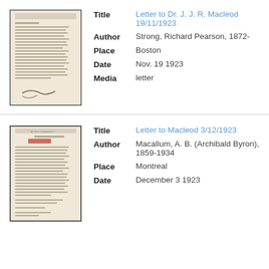[Figure (photo): Thumbnail image of a typed letter document, aged paper, with handwritten signature at bottom]
Title: Letter to Dr. J. J. R. Macleod 19/11/1923
Author: Strong, Richard Pearson, 1872-
Place: Boston
Date: Nov. 19 1923
Media: letter
[Figure (photo): Thumbnail image of a typed letter on McGill University letterhead, dated December 3 1923, with a red stamp]
Title: Letter to Macleod 3/12/1923
Author: Macallum, A. B. (Archibald Byron), 1859-1934
Place: Montreal
Date: December 3 1923